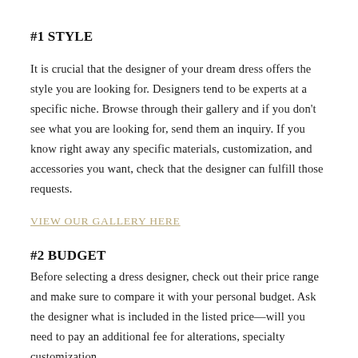#1 STYLE
It is crucial that the designer of your dream dress offers the style you are looking for. Designers tend to be experts at a specific niche. Browse through their gallery and if you don’t see what you are looking for, send them an inquiry. If you know right away any specific materials, customization, and accessories you want, check that the designer can fulfill those requests.
VIEW OUR GALLERY HERE
#2 BUDGET
Before selecting a dress designer, check out their price range and make sure to compare it with your personal budget. Ask the designer what is included in the listed price—will you need to pay an additional fee for alterations, specialty customization,